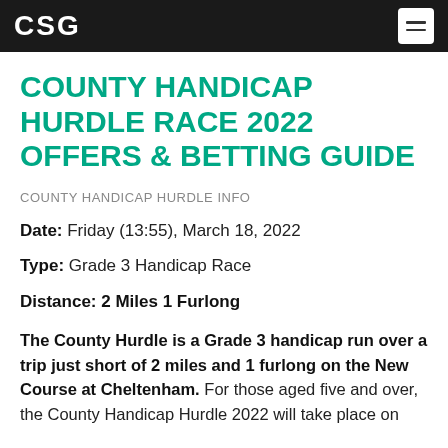CSG
COUNTY HANDICAP HURDLE RACE 2022 OFFERS & BETTING GUIDE
COUNTY HANDICAP HURDLE INFO
Date: Friday (13:55), March 18, 2022
Type: Grade 3 Handicap Race
Distance: 2 Miles 1 Furlong
The County Hurdle is a Grade 3 handicap run over a trip just short of 2 miles and 1 furlong on the New Course at Cheltenham. For those aged five and over, the County Handicap Hurdle 2022 will take place on